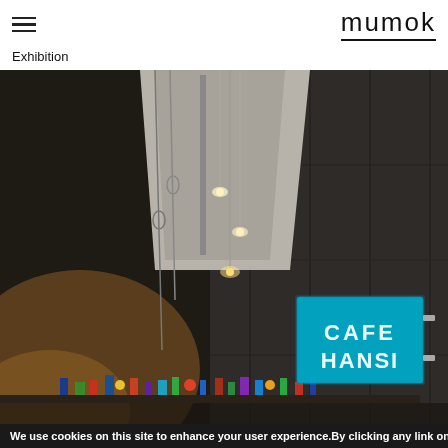mumok
Exhibition
[Figure (photo): Interior of mumok museum showing a tall dark concrete/basalt wall with pendant track lighting on the ceiling, and a glowing blue 'CAFE HANSI' neon sign on the right side. A shelf with small figurines and objects is visible at the bottom.]
We use cookies on this site to enhance your user experience.By clicking any link on this page